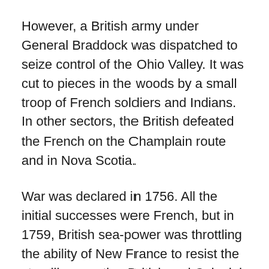However, a British army under General Braddock was dispatched to seize control of the Ohio Valley. It was cut to pieces in the woods by a small troop of French soldiers and Indians. In other sectors, the British defeated the French on the Champlain route and in Nova Scotia.
War was declared in 1756. All the initial successes were French, but in 1759, British sea-power was throttling the ability of New France to resist the steadily mounting British and Colonial pressure. Outposts of the far-flung French empire were nipped off one by one.
Oswego, once Britain's old strong point on Lake Ontario, was recaptured. From here, a strong army, led by Brigadier-General John Prideaux, moved against Fort Niagara. The force